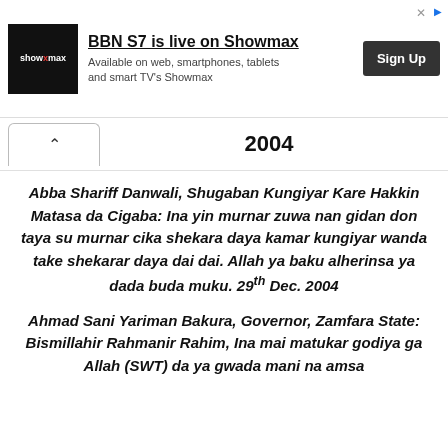[Figure (other): Advertisement banner for Showmax streaming service: logo, headline 'BBN S7 is live on Showmax', subtext 'Available on web, smartphones, tablets and smart TV's Showmax', and a 'Sign Up' button]
2004
Abba Shariff Danwali, Shugaban Kungiyar Kare Hakkin Matasa da Cigaba: Ina yin murnar zuwa nan gidan don taya su murnar cika shekara daya kamar kungiyar wanda take shekarar daya dai dai. Allah ya baku alherinsa ya dada buda muku. 29th Dec. 2004
Ahmad Sani Yariman Bakura, Governor, Zamfara State: Bismillahir Rahmanir Rahim, Ina mai matukar godiya ga Allah (SWT) da ya gwada mani na amsa